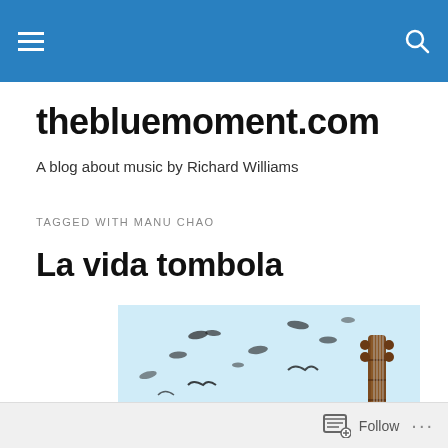thebluemoment.com — navigation header with hamburger menu and search icon
thebluemoment.com
A blog about music by Richard Williams
TAGGED WITH MANU CHAO
La vida tombola
[Figure (photo): A colorful photograph showing birds, a person, and a guitar neck against a light blue sky background]
Follow   ...